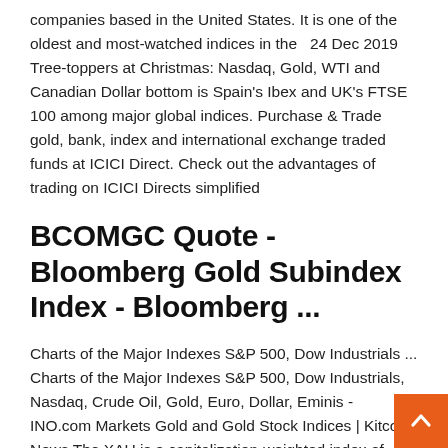companies based in the United States. It is one of the oldest and most-watched indices in the   24 Dec 2019 Tree-toppers at Christmas: Nasdaq, Gold, WTI and Canadian Dollar bottom is Spain's Ibex and UK's FTSE 100 among major global indices. Purchase & Trade gold, bank, index and international exchange traded funds at ICICI Direct. Check out the advantages of trading on ICICI Directs simplified
BCOMGC Quote - Bloomberg Gold Subindex Index - Bloomberg ...
Charts of the Major Indexes S&P 500, Dow Industrials ... Charts of the Major Indexes S&P 500, Dow Industrials, Nasdaq, Crude Oil, Gold, Euro, Dollar, Eminis - INO.com Markets Gold and Gold Stock Indices | Kitco News The XAU is a capitalization-weighted index of thirty precious metal mining companies that has traded on the Philadelphia Stock Exchange since 1983. Another